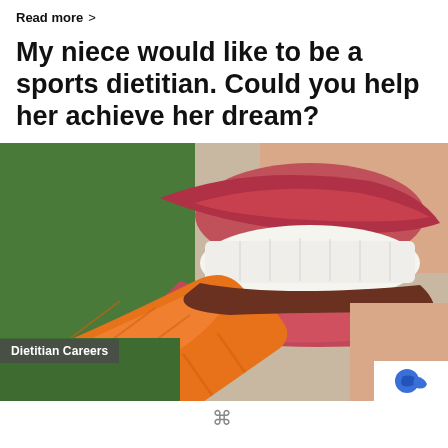Read more >
My niece would like to be a sports dietitian. Could you help her achieve her dream?
[Figure (photo): Close-up photograph of a woman with red lipstick biting into an orange carrot, with a green background. A semi-transparent grey overlay in the lower left reads 'Dietitian Careers' in bold white text. A small white logo box appears in the bottom right corner.]
Dietitian Careers